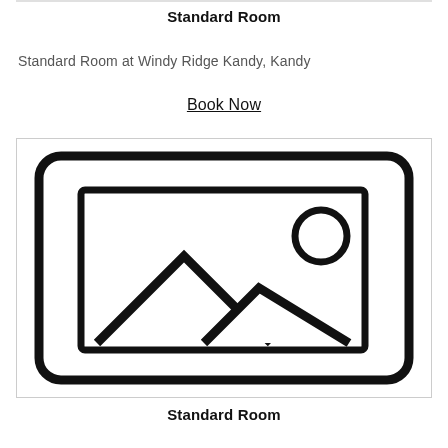Standard Room
Standard Room at Windy Ridge Kandy, Kandy
Book Now
[Figure (illustration): Placeholder image icon showing a landscape with mountains and sun inside a rounded rectangle frame]
Standard Room